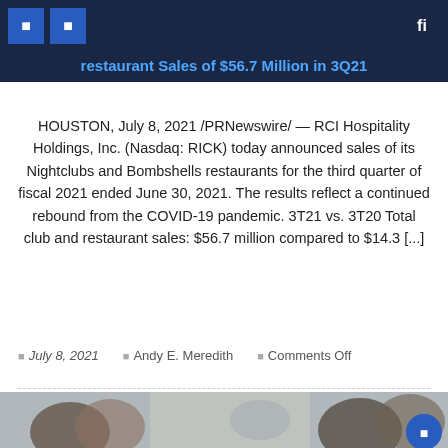Restaurant Sales of $56.7 Million in 3Q21
HOUSTON, July 8, 2021 /PRNewswire/ — RCI Hospitality Holdings, Inc. (Nasdaq: RICK) today announced sales of its Nightclubs and Bombshells restaurants for the third quarter of fiscal 2021 ended June 30, 2021. The results reflect a continued rebound from the COVID-19 pandemic. 3T21 vs. 3T20 Total club and restaurant sales: $56.7 million compared to $14.3 [...]
July 8, 2021   Andy E. Meredith   Comments Off
[Figure (photo): Group of diverse young adults smiling and socializing in a restaurant setting]